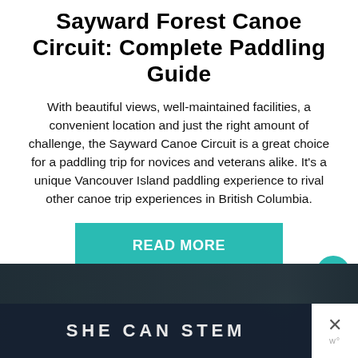Sayward Forest Canoe Circuit: Complete Paddling Guide
With beautiful views, well-maintained facilities, a convenient location and just the right amount of challenge, the Sayward Canoe Circuit is a great choice for a paddling trip for novices and veterans alike. It's a unique Vancouver Island paddling experience to rival other canoe trip experiences in British Columbia.
READ MORE
[Figure (photo): Partial photo of mossy green forest floor with a dark overlay banner reading 'SHE CAN STEM' and a close button with an X]